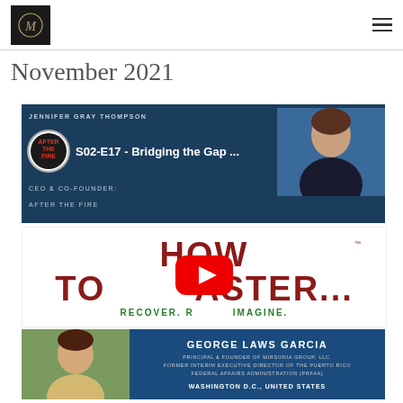[Figure (logo): Black square logo with circular M/C monogram in gold outline]
November 2021
[Figure (screenshot): YouTube thumbnail: S02-E17 - Bridging the Gap ... After The Fire podcast, Jennifer Gray Thompson, CEO & Co-Founder, Sonoma California USA]
[Figure (screenshot): YouTube video thumbnail with play button: HOW TO DISASTER - RECOVER. REBUILD. REIMAGINE. (TM)]
[Figure (screenshot): YouTube thumbnail: George Laws Garcia, Principal & Founder of Mirsonia Group LLC, Former Interim Executive Director of the Puerto Rico Federal Affairs Administration (PRFAA), Washington D.C., United States]